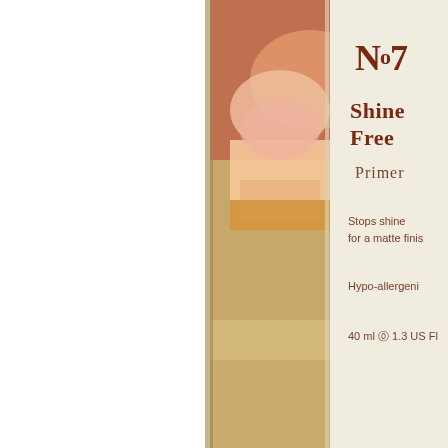[Figure (photo): A photograph of a No7 Shine Free Primer product bottle on a wooden surface with colorful makeup products in the background. The cream-colored bottle shows the brand name 'No7', product name 'Shine Free Primer', and text reading 'Stops shine for a matte finish', 'Hypo-allergenic', and '40 ml e 1.3 US Fl'. The left portion of the image is white/blank.]